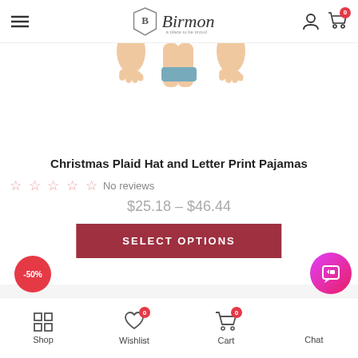Birmon — e-commerce header with logo, user icon, cart (0)
[Figure (photo): Partial product photo showing children's feet/legs at top, cropped at top of page]
Christmas Plaid Hat and Letter Print Pajamas
☆ ☆ ☆ ☆ ☆ No reviews
$25.18 – $46.44
SELECT OPTIONS
-50%
Shop | Wishlist 0 | Cart 0 | Chat